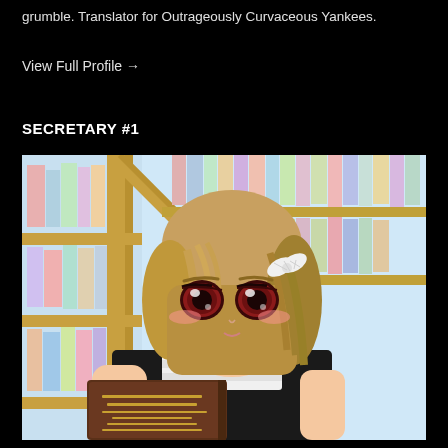grumble. Translator for Outrageously Curvaceous Yankees.
View Full Profile →
SECRETARY #1
[Figure (illustration): Anime-style illustration of a young girl with brown hair and red eyes, wearing a black and white outfit with a red plaid bow/tie, holding an open book in a library setting with colorful books on shelves in the background. She has a white hair clip/bow accessory.]